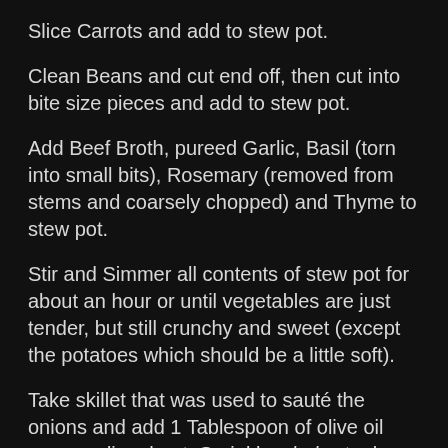Slice Carrots and add to stew pot.
Clean Beans and cut end off, then cut into bite size pieces and add to stew pot.
Add Beef Broth, pureed Garlic, Basil (torn into small bits), Rosemary (removed from stems and coarsely chopped) and Thyme to stew pot.
Stir and Simmer all contents of stew pot for about an hour or until vegetables are just tender, but still crunchy and sweet (except the potatoes which should be a little soft).
Take skillet that was used to sauté the onions and add 1 Tablespoon of olive oil over medium heat. Sprinkle whole steaks with salt and pepper. Once oil is hot enough, add steaks and cook on each side until just browned. Let steaks cool slightly, and then cut into bite size pieces before adding them to the stew.